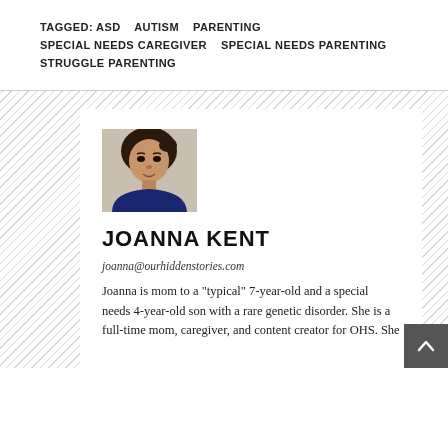TAGGED: ASD    AUTISM    PARENTING    SPECIAL NEEDS CAREGIVER    SPECIAL NEEDS PARENTING    STRUGGLE PARENTING
[Figure (photo): Portrait photo of Joanna Kent, a woman with dark hair pulled back, wearing a dark blue top, photographed against a light background.]
JOANNA KENT
joanna@ourhiddenstories.com
Joanna is mom to a "typical" 7-year-old and a special needs 4-year-old son with a rare genetic disorder. She is a full-time mom, caregiver, and content creator for OHS. She